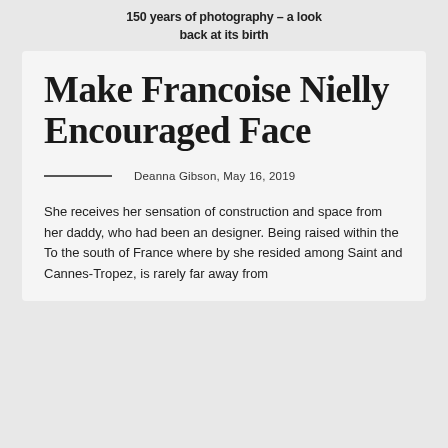150 years of photography – a look back at its birth
Make Francoise Nielly Encouraged Face
Deanna Gibson, May 16, 2019
She receives her sensation of construction and space from her daddy, who had been an designer. Being raised within the To the south of France where by she resided among Saint and Cannes-Tropez, is rarely far away from